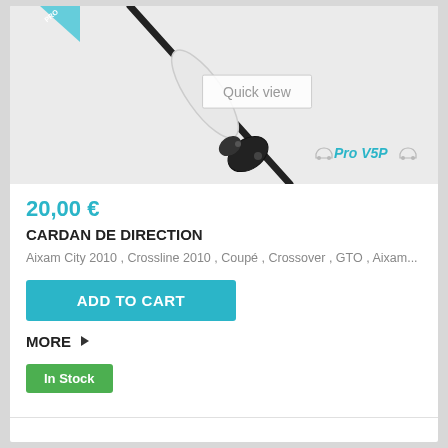[Figure (photo): Product photo of a cardan de direction (steering universal joint) part, black and white component on gray background, with 'Quick view' overlay box and Pro VSP logo in bottom right of image area. A teal ribbon/badge is visible at top left.]
20,00 €
CARDAN DE DIRECTION
Aixam City 2010 , Crossline 2010 , Coupé , Crossover , GTO , Aixam...
ADD TO CART
MORE ▶
In Stock